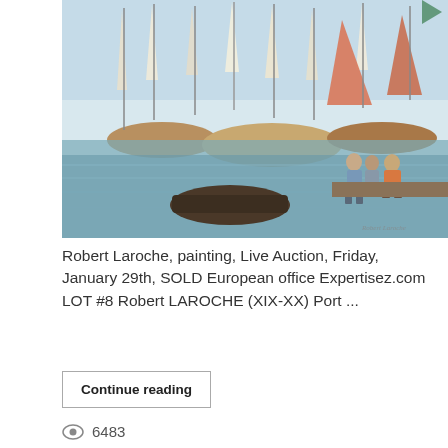[Figure (photo): Impressionist painting of a harbor scene with sailboats, fishing boats, and figures working near the water. Painted in warm and cool tones with loose brushwork.]
Robert Laroche, painting, Live Auction, Friday, January 29th, SOLD European office Expertisez.com LOT #8 Robert LAROCHE (XIX-XX) Port ...
Continue reading
6483
Tags:  #Robert Laroche, #Painting, #Live auction
Katrin Fridriks, plonger dans un rêve, painting